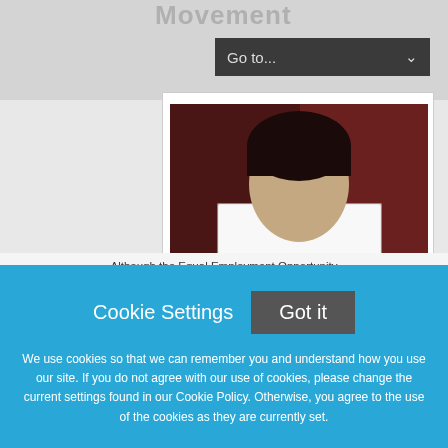Movement
Go to...
[Figure (photo): Person holding a white sign that reads '#MeToo' in handwritten text, face obscured by the sign, wearing a striped top, dark red/maroon background.]
Although the Equal Employment Opportunity
Cookie Settings
Got it
We use cookies so that we can remember you and understand how you use our site. If you do not agree with our use of cookies, please change the current settings found in our Cookie Policy. Otherwise, you agree to the use of the cookies as they are currently set.